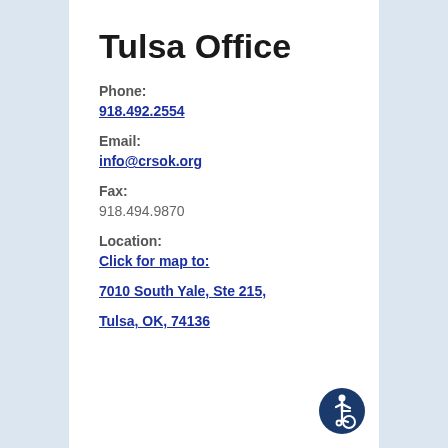Tulsa Office
Phone:
918.492.2554
Email:
info@crsok.org
Fax:
918.494.9870
Location:
Click for map to:
7010 South Yale, Ste 215,
Tulsa, OK, 74136
[Figure (illustration): Wheelchair accessibility icon — white figure in wheelchair on dark blue circular background]